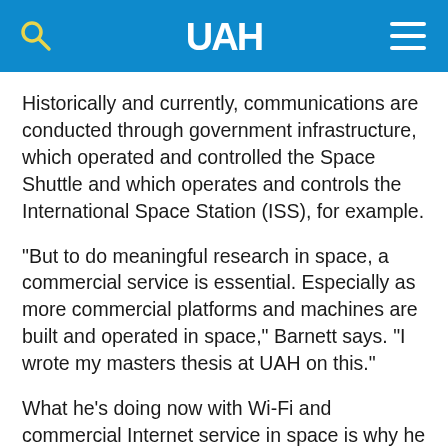UAH
Historically and currently, communications are conducted through government infrastructure, which operated and controlled the Space Shuttle and which operates and controls the International Space Station (ISS), for example.
"But to do meaningful research in space, a commercial service is essential. Especially as more commercial platforms and machines are built and operated in space," Barnett says. "I wrote my masters thesis at UAH on this."
What he’s doing now with Wi-Fi and commercial Internet service in space is why he chose to attend UAH, Barnett says.
"For graduate school, I wanted to go someplace